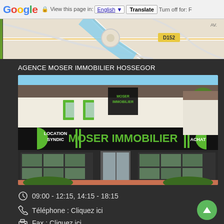Google  View this page in: English  Translate  Turn off for: F
[Figure (map): Google Maps partial view showing road map with route D152 label]
AGENCE MOSER IMMOBILIER HOSSEGOR
[Figure (photo): Exterior photo of Agence Moser Immobilier Hossegor real estate office with green and black signage showing MOSER IMMOBILIER, LOCATION SYNDIC, VENTE ACHAT]
09:00 - 12:15, 14:15 - 18:15
Téléphone : Cliquez ici
Fax : Cliquez ici